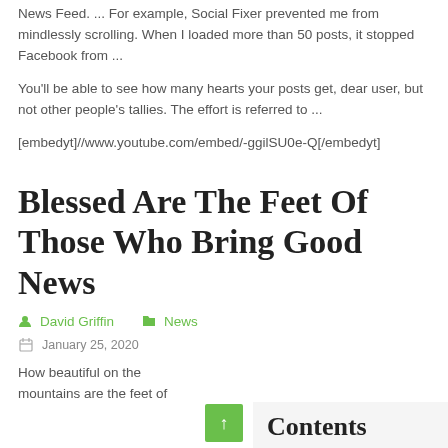News Feed. ... For example, Social Fixer prevented me from mindlessly scrolling. When I loaded more than 50 posts, it stopped Facebook from ...
You'll be able to see how many hearts your posts get, dear user, but not other people's tallies. The effort is referred to ...
[embedyt]//www.youtube.com/embed/-ggilSU0e-Q[/embedyt]
Blessed Are The Feet Of Those Who Bring Good News
David Griffin   News
January 25, 2020
How beautiful on the mountains are the feet of
Contents